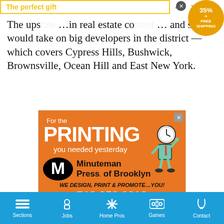The upstate ... in real estate co... and she would take on big developers in the district — which covers Cypress Hills, Bushwick, Brownsville, Ocean Hill and East New York.
[Figure (infographic): Orange advertisement for Minuteman Press of Brooklyn. Text: 'For the PRINTING you needed yesterday'. Logo with M emblem. 'WE DESIGN, PRINT & PROMOTE…YOU!' Phone: 718.858.0313, Address: 305 Atlantic Avenue. Mascot figure holding a clock head.]
Sections  Jobs  Home Pros  Games  Contact